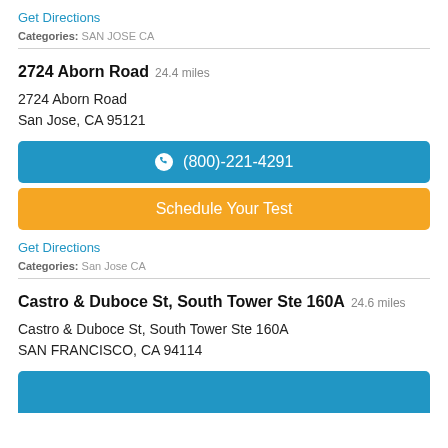Get Directions
Categories: SAN JOSE CA
2724 Aborn Road 24.4 miles
2724 Aborn Road
San Jose, CA 95121
(800)-221-4291
Schedule Your Test
Get Directions
Categories: San Jose CA
Castro & Duboce St, South Tower Ste 160A 24.6 miles
Castro & Duboce St, South Tower Ste 160A
SAN FRANCISCO, CA 94114